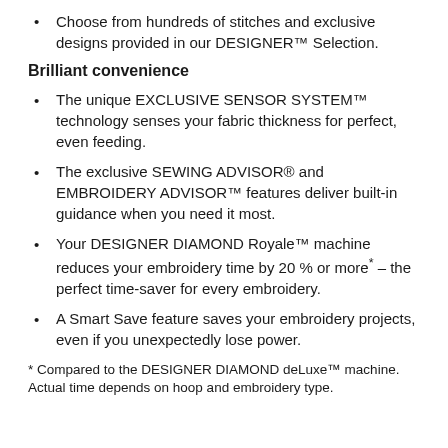Choose from hundreds of stitches and exclusive designs provided in our DESIGNER™ Selection.
Brilliant convenience
The unique EXCLUSIVE SENSOR SYSTEM™ technology senses your fabric thickness for perfect, even feeding.
The exclusive SEWING ADVISOR® and EMBROIDERY ADVISOR™ features deliver built-in guidance when you need it most.
Your DESIGNER DIAMOND Royale™ machine reduces your embroidery time by 20 % or more* – the perfect time-saver for every embroidery.
A Smart Save feature saves your embroidery projects, even if you unexpectedly lose power.
* Compared to the DESIGNER DIAMOND deLuxe™ machine. Actual time depends on hoop and embroidery type.